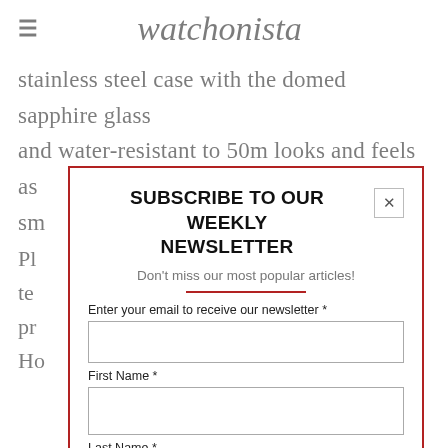watchonista
stainless steel case with the domed sapphire glass and water-resistant to 50m looks and feels as sm…
Pl… nd te… a pr… a, Ho…
SUBSCRIBE TO OUR WEEKLY NEWSLETTER
Don't miss our most popular articles!
Enter your email to receive our newsletter *
First Name *
Last Name *